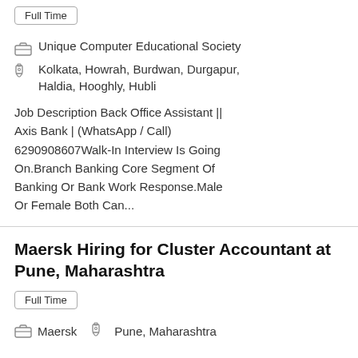Full Time
Unique Computer Educational Society
Kolkata, Howrah, Burdwan, Durgapur, Haldia, Hooghly, Hubli
Job Description Back Office Assistant || Axis Bank | (WhatsApp / Call) 6290908607Walk-In Interview Is Going On.Branch Banking Core Segment Of Banking Or Bank Work Response.Male Or Female Both Can...
Maersk Hiring for Cluster Accountant at Pune, Maharashtra
Full Time
Maersk
Pune, Maharashtra